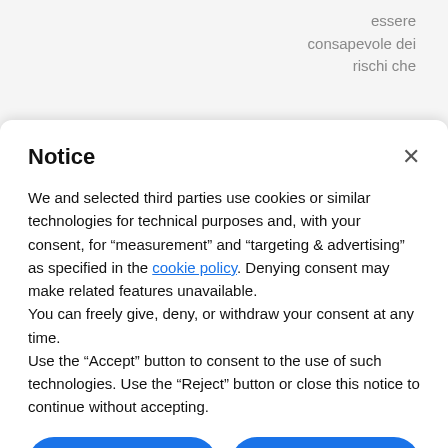essere
consapevole dei
rischi che
Notice
We and selected third parties use cookies or similar technologies for technical purposes and, with your consent, for “measurement” and “targeting & advertising” as specified in the cookie policy. Denying consent may make related features unavailable.
You can freely give, deny, or withdraw your consent at any time.
Use the “Accept” button to consent to the use of such technologies. Use the “Reject” button or close this notice to continue without accepting.
Reject
Accept
Learn more and customize